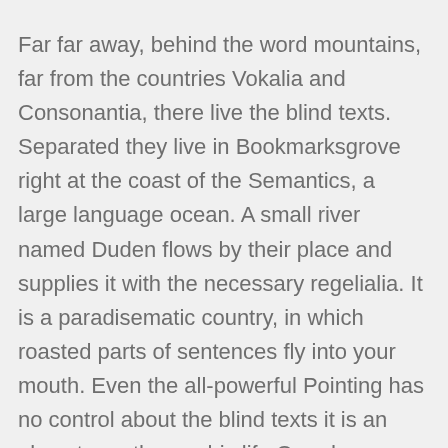Far far away, behind the word mountains, far from the countries Vokalia and Consonantia, there live the blind texts. Separated they live in Bookmarksgrove right at the coast of the Semantics, a large language ocean. A small river named Duden flows by their place and supplies it with the necessary regelialia. It is a paradisematic country, in which roasted parts of sentences fly into your mouth. Even the all-powerful Pointing has no control about the blind texts it is an almost unorthographic life One day however a small line of blind text by the name of Lorem Ipsum decided to leave for the far World of Grammar.